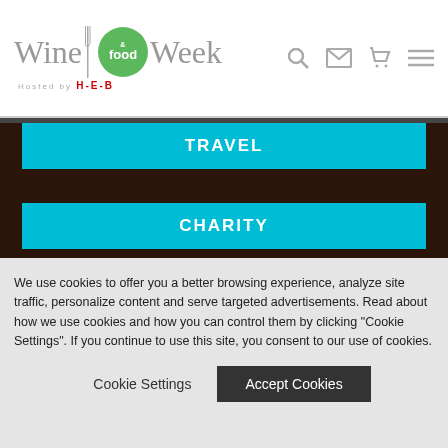Wine & food Week - Hosted by H-E-B
TRAVEL
CHARITY
CONTACT
SITE MAP
PRIVACY, TERMS & COOKIES
Copyright ©2022, Food & Vine Time Productions. All Rights Reserved.
We use cookies to offer you a better browsing experience, analyze site traffic, personalize content and serve targeted advertisements. Read about how we use cookies and how you can control them by clicking "Cookie Settings". If you continue to use this site, you consent to our use of cookies.